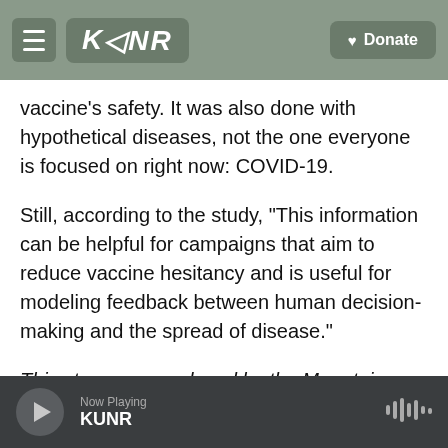KUNR | Donate
vaccine's safety. It was also done with hypothetical diseases, not the one everyone is focused on right now: COVID-19.
Still, according to the study, "This information can be helpful for campaigns that aim to reduce vaccine hesitancy and is useful for modeling feedback between human decision-making and the spread of disease."
This story was produced by the Mountain West News Bureau, a collaboration between Wyoming Public Media, Boise State Public Radio in Idaho,
Now Playing KUNR